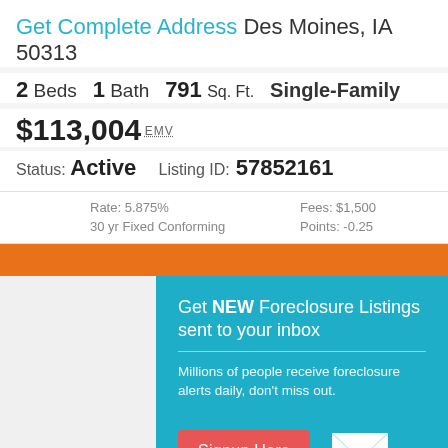Get Complete Address Des Moines, IA 50313
2 Beds  1 Bath  791 Sq. Ft.  Single-Family
$113,004 EMV
Status: Active   Listing ID: 57852161
Rate: 5.875%  30 yr Fixed Conforming  Fees: $1,500  Points: -0.25
[Figure (screenshot): Foreclosure listing signup popup overlay on a real estate listing page. Teal background with text: Get NEW Foreclosure Listings sent to your inbox. Millions of people receive foreclosure alerts daily, don't miss out. Red Signup Here button, envelope icon, and No Thanks | Remind Me Later link.]